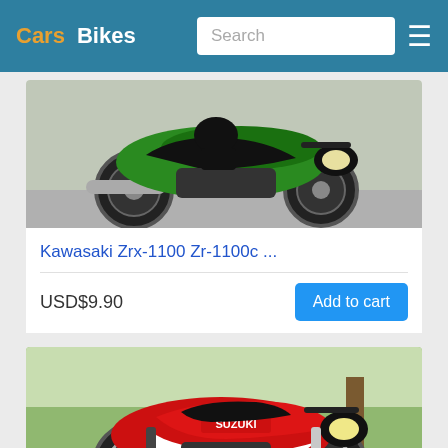Cars  Bikes
[Figure (photo): Green Kawasaki ZRX-1100 motorcycle in motion on road, side view]
Kawasaki Zrx-1100 Zr-1100c ...
USD$9.90
Add to cart
[Figure (photo): Red and white Suzuki TL1000S motorcycle parked on driveway, side view]
Suzuki Tl1000s 1997-2001 S...